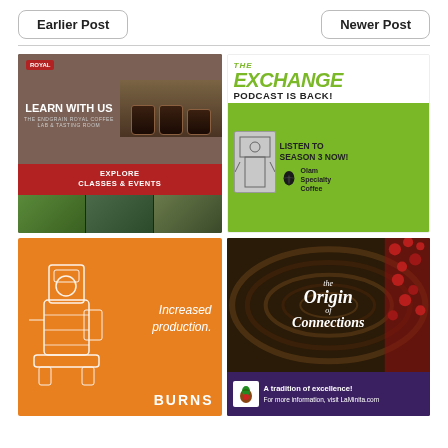Earlier Post
Newer Post
[Figure (illustration): Coffee class advertisement: LEARN WITH US - Explore Classes & Events, showing coffee mugs on wood tray and green interior event space]
[Figure (illustration): The Exchange Podcast Is Back! Listen to Season 3 Now! - Olam Specialty Coffee advertisement with green background and coffee processing machinery]
[Figure (illustration): Burns coffee roaster advertisement on orange background: Increased production. with white line drawing of roasting machine]
[Figure (illustration): La Minita The Origin of Connections coffee advertisement with coffee cherry field background. A tradition of excellence! For more information, visit LaMinita.com]